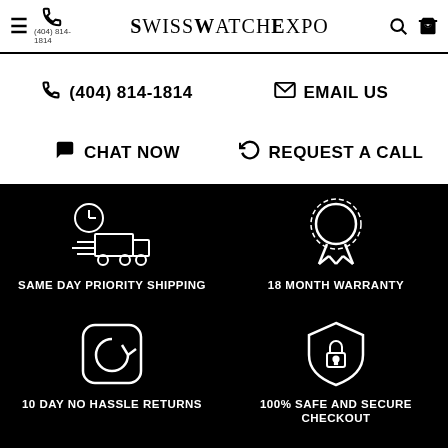SwissWatchExpo — (404) 814-1814
(404) 814-1814
EMAIL US
CHAT NOW
REQUEST A CALL
[Figure (illustration): Delivery truck icon with clock indicating same day shipping]
SAME DAY PRIORITY SHIPPING
[Figure (illustration): Award ribbon/medal icon indicating warranty]
18 MONTH WARRANTY
[Figure (illustration): Circular arrow in rounded square icon indicating returns]
10 DAY NO HASSLE RETURNS
[Figure (illustration): Shield with padlock icon indicating secure checkout]
100% SAFE AND SECURE CHECKOUT